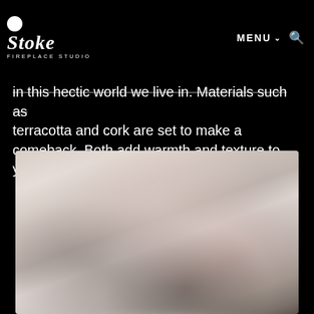Stoke Fireplace Studio — MENU
in this hectic world we live in. Materials such as terracotta and cork are set to make a comeback. Both add warmth and texture to your home."
[Figure (photo): Blurred interior room photo showing soft warm tones, a sofa or chair in the lower portion, and what appears to be a decorative item with red accents in the background right.]